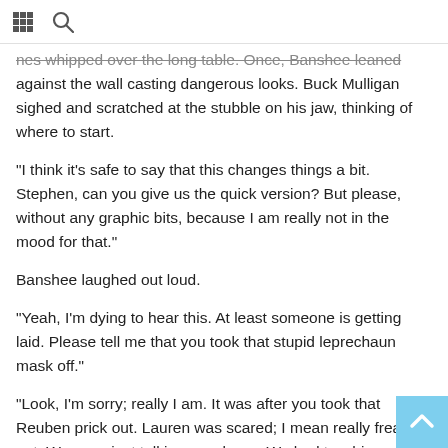grid icon | search icon
nes whipped over the long table. Once, Banshee leaned against the wall casting dangerous looks. Buck Mulligan sighed and scratched at the stubble on his jaw, thinking of where to start.
“I think it’s safe to say that this changes things a bit. Stephen, can you give us the quick version? But please, without any graphic bits, because I am really not in the mood for that.”
Banshee laughed out loud.
“Yeah, I’m dying to hear this. At least someone is getting laid. Please tell me that you took that stupid leprechaun mask off.”
“Look, I’m sorry; really I am. It was after you took that Reuben prick out. Lauren was scared; I mean really freaked out. We were just talking, you know. We had to whisper, so we were leaned in close. Then it just happened.”
Sweeney raised his head from the table.
“Yes, it just happened. The Stockholm Syndrome kicked in, as the